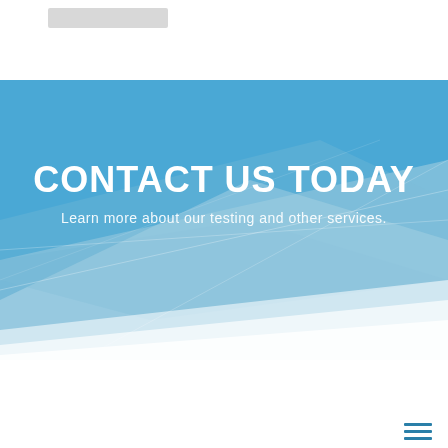[Figure (illustration): Gray placeholder rectangle representing a logo in the top white header area]
[Figure (illustration): Blue geometric banner background with overlapping angular light-blue polygonal shapes forming a layered abstract design. Contains centered white bold title text 'CONTACT US TODAY' and subtitle 'Learn more about our testing and other services.']
CONTACT US TODAY
Learn more about our testing and other services.
[Figure (illustration): Hamburger menu icon with three horizontal teal/dark-blue lines in the bottom-right corner]